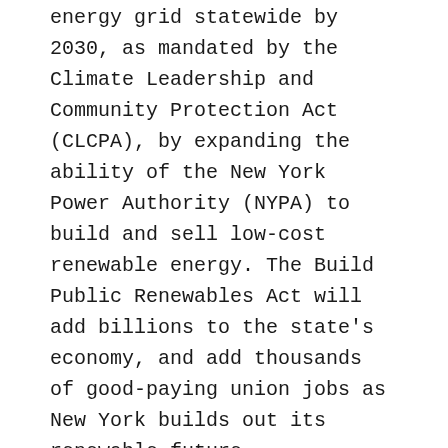energy grid statewide by 2030, as mandated by the Climate Leadership and Community Protection Act (CLCPA), by expanding the ability of the New York Power Authority (NYPA) to build and sell low-cost renewable energy. The Build Public Renewables Act will add billions to the state's economy, and add thousands of good-paying union jobs as New York builds out its renewable future.
Now all eyes turn to the Assembly and Speaker Carl Heastie. The Build Public Renewables Act has the most cosponsors and supporters of any climate bill in the New York State Assembly. There is no reason or excuse to delay. At a time when utility bills are higher than ever, New York must pass the BPRA giving one million low- and moderate-income households across the state